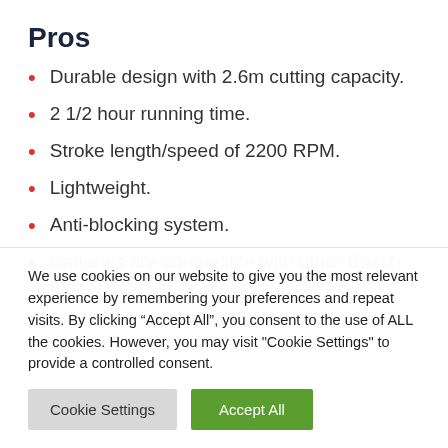Pros
Durable design with 2.6m cutting capacity.
2 1/2 hour running time.
Stroke length/speed of 2200 RPM.
Lightweight.
Anti-blocking system.
Batteries are compatible with other Bosch tools.
We use cookies on our website to give you the most relevant experience by remembering your preferences and repeat visits. By clicking “Accept All”, you consent to the use of ALL the cookies. However, you may visit "Cookie Settings" to provide a controlled consent.